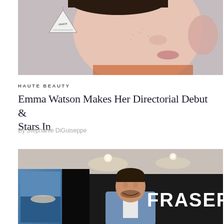[Figure (photo): Close-up photo of a person wearing a triangular Prada earring, orange top, with hand raised near face]
HAUTE BEAUTY
Emma Watson Makes Her Directorial Debut & Stars In
By Stephanie DiGuiseppe
[Figure (photo): A smiling man in a blue suit jacket standing in front of a large black wall with the word FRASER in white letters, with artwork visible to the left]